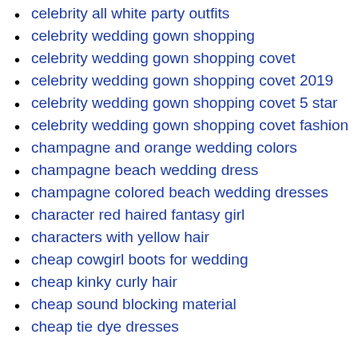celebrity all white party outfits
celebrity wedding gown shopping
celebrity wedding gown shopping covet
celebrity wedding gown shopping covet 2019
celebrity wedding gown shopping covet 5 star
celebrity wedding gown shopping covet fashion
champagne and orange wedding colors
champagne beach wedding dress
champagne colored beach wedding dresses
character red haired fantasy girl
characters with yellow hair
cheap cowgirl boots for wedding
cheap kinky curly hair
cheap sound blocking material
cheap tie dye dresses